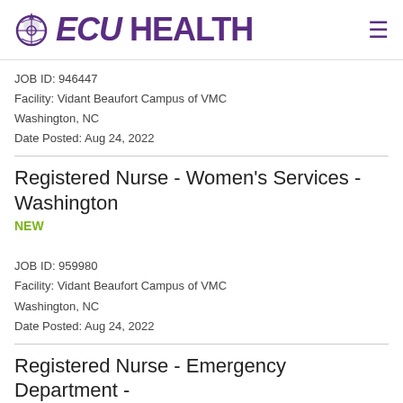ECU HEALTH
JOB ID: 946447
Facility: Vidant Beaufort Campus of VMC
Washington, NC
Date Posted: Aug 24, 2022
Registered Nurse - Women's Services - Washington
NEW
JOB ID: 959980
Facility: Vidant Beaufort Campus of VMC
Washington, NC
Date Posted: Aug 24, 2022
Registered Nurse - Emergency Department -
NEW